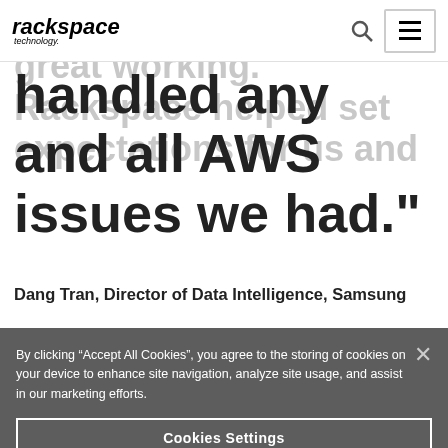rackspace technology
super. But it was always great working. Rackspace helped set expectations for us and handled any and all AWS issues we had."
Dang Tran, Director of Data Intelligence, Samsung
By clicking “Accept All Cookies”, you agree to the storing of cookies on your device to enhance site navigation, analyze site usage, and assist in our marketing efforts.
Cookies Settings
Reject All
Accept All Cookies